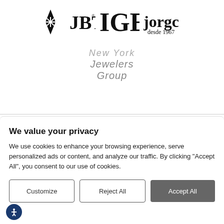[Figure (logo): JBT, IGE, and jorgc logos side by side at top of page]
[Figure (logo): New York Jewelers Group logo in gray italic text]
We value your privacy
We use cookies to enhance your browsing experience, serve personalized ads or content, and analyze our traffic. By clicking "Accept All", you consent to our use of cookies.
Customize | Reject All | Accept All